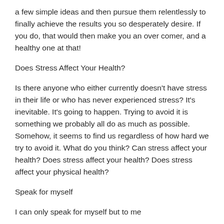a few simple ideas and then pursue them relentlessly to finally achieve the results you so desperately desire. If you do, that would then make you an over comer, and a healthy one at that!
Does Stress Affect Your Health?
Is there anyone who either currently doesn't have stress in their life or who has never experienced stress? It's inevitable. It's going to happen. Trying to avoid it is something we probably all do as much as possible. Somehow, it seems to find us regardless of how hard we try to avoid it. What do you think? Can stress affect your health? Does stress affect your health? Does stress affect your physical health?
Speak for myself
I can only speak for myself but to me